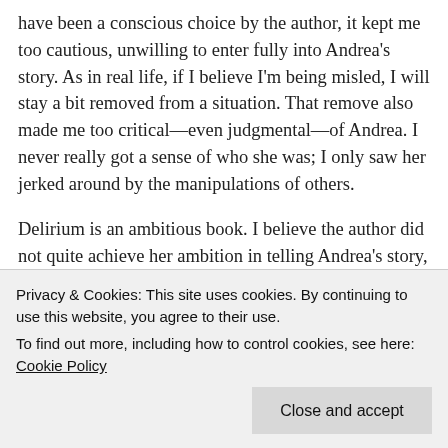have been a conscious choice by the author, it kept me too cautious, unwilling to enter fully into Andrea's story. As in real life, if I believe I'm being misled, I will stay a bit removed from a situation. That remove also made me too critical—even judgmental—of Andrea. I never really got a sense of who she was; I only saw her jerked around by the manipulations of others.
Delirium is an ambitious book. I believe the author did not quite achieve her ambition in telling Andrea's story, but it was a worthy attempt. I'm still mulling over many of the issues she raised and questions she never answered fully. And I've also started
Privacy & Cookies: This site uses cookies. By continuing to use this website, you agree to their use.
To find out more, including how to control cookies, see here: Cookie Policy